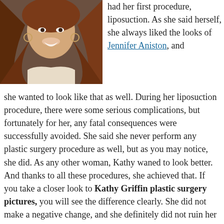[Figure (photo): Woman with long auburn hair smiling, wearing a white top, hoop earrings, photographed at an event.]
had her first procedure, liposuction. As she said herself, she always liked the looks of Jennifer Aniston, and she wanted to look like that as well. During her liposuction procedure, there were some serious complications, but fortunately for her, any fatal consequences were successfully avoided. She said she never perform any plastic surgery procedure as well, but as you may notice, she did. As any other woman, Kathy waned to look better. And thanks to all these procedures, she achieved that. If you take a closer look to Kathy Griffin plastic surgery pictures, you will see the difference clearly. She did not make a negative change, and she definitely did not ruin her looks. Yes, she did several